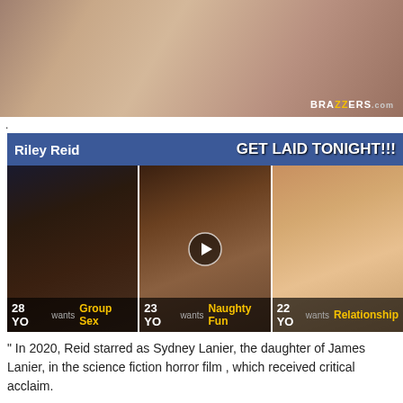[Figure (photo): Adult content video thumbnail with Brazzers.com watermark]
.
[Figure (infographic): Adult dating advertisement banner reading 'Riley Reid' and 'GET LAID TONIGHT!!!' with three thumbnail images of women labeled: 28 YO wants Group Sex, 23 YO wants Naughty Fun, 22 YO wants Relationship]
" In 2020, Reid starred as Sydney Lanier, the daughter of James Lanier, in the science fiction horror film , which received critical acclaim.